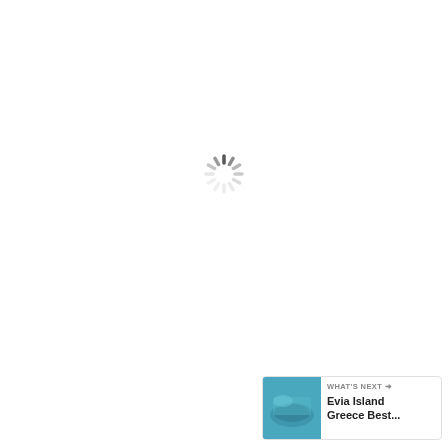[Figure (other): Spinning loading indicator (circular dashes) centered near top of page]
The island is small enough to cover in one nice long bike ride.
[Figure (other): Teal circular heart/favorite button icon]
2
[Figure (other): Share button (circle with share icon)]
[Figure (other): What's Next card showing Evia Island Greece Best... with thumbnail image]